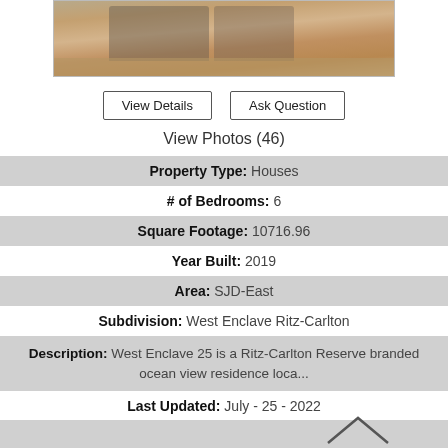[Figure (photo): Interior photo of a dining area with wicker chairs and hardwood floors]
View Details   Ask Question
View Photos (46)
Property Type: Houses
# of Bedrooms: 6
Square Footage: 10716.96
Year Built: 2019
Area: SJD-East
Subdivision: West Enclave Ritz-Carlton
Description: West Enclave 25 is a Ritz-Carlton Reserve branded ocean view residence loca...
Last Updated: July - 25 - 2022
[Figure (illustration): House/roof icon at bottom]